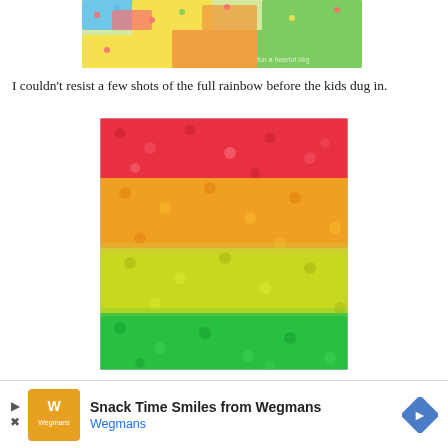[Figure (photo): Top portion of colorful candy/sprinkles showing rainbow colors (blue, yellow, green, red, pink), partially cropped at top of page with watermark text in lower right corner]
I couldn't resist a few shots of the full rainbow before the kids dug in.
[Figure (photo): Close-up photo of rainbow-sorted candy sprinkles arranged in horizontal color bands: red/pink at top, orange-yellow in middle, yellow-green below, and bright green at bottom]
[Figure (infographic): Advertisement banner for Wegmans grocery store: SnackTime Smiles from Wegmans, with Wegmans logo and navigation arrows]